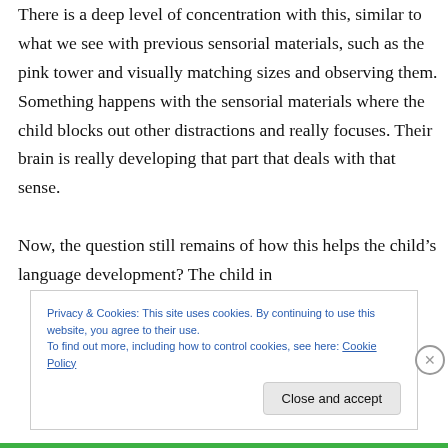There is a deep level of concentration with this, similar to what we see with previous sensorial materials, such as the pink tower and visually matching sizes and observing them. Something happens with the sensorial materials where the child blocks out other distractions and really focuses. Their brain is really developing that part that deals with that sense.

Now, the question still remains of how this helps the child's language development? The child in
Privacy & Cookies: This site uses cookies. By continuing to use this website, you agree to their use.
To find out more, including how to control cookies, see here: Cookie Policy